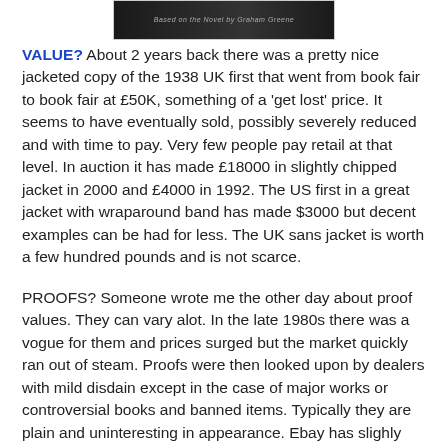[Figure (photo): Top portion of a book cover image, dark background with text, partially visible]
VALUE? About 2 years back there was a pretty nice jacketed copy of the 1938 UK first that went from book fair to book fair at £50K, something of a 'get lost' price. It seems to have eventually sold, possibly severely reduced and with time to pay. Very few people pay retail at that level. In auction it has made £18000 in slightly chipped jacket in 2000 and £4000 in 1992. The US first in a great jacket with wraparound band has made $3000 but decent examples can be had for less. The UK sans jacket is worth a few hundred pounds and is not scarce.
PROOFS? Someone wrote me the other day about proof values. They can vary alot. In the late 1980s there was a vogue for them and prices surged but the market quickly ran out of steam. Proofs were then looked upon by dealers with mild disdain except in the case of major works or controversial books and banned items. Typically they are plain and uninteresting in appearance. Ebay has slighly revived their fortunes but they are tricky and don't tend to